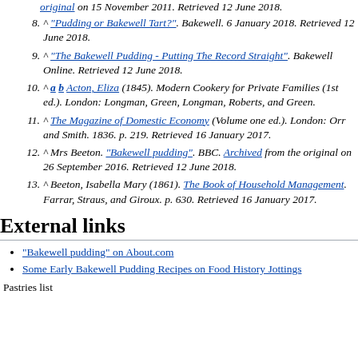^ "Pudding or Bakewell Tart?". Bakewell. 6 January 2018. Retrieved 12 June 2018.
^ "The Bakewell Pudding - Putting The Record Straight". Bakewell Online. Retrieved 12 June 2018.
^ a b Acton, Eliza (1845). Modern Cookery for Private Families (1st ed.). London: Longman, Green, Longman, Roberts, and Green.
^ The Magazine of Domestic Economy (Volume one ed.). London: Orr and Smith. 1836. p. 219. Retrieved 16 January 2017.
^ Mrs Beeton. "Bakewell pudding". BBC. Archived from the original on 26 September 2016. Retrieved 12 June 2018.
^ Beeton, Isabella Mary (1861). The Book of Household Management. Farrar, Straus, and Giroux. p. 630. Retrieved 16 January 2017.
External links
"Bakewell pudding" on About.com
Some Early Bakewell Pudding Recipes on Food History Jottings
Pastries list